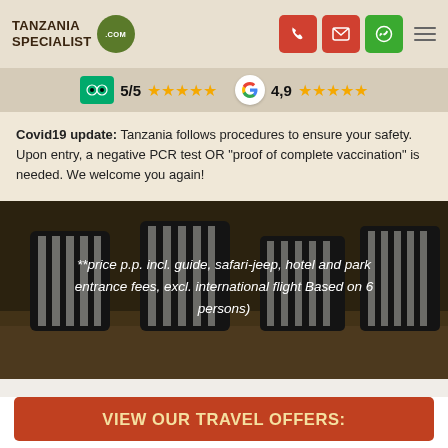Tanzania Specialist .com — navigation with phone, email, WhatsApp icons and hamburger menu
TripAdvisor 5/5 ★★★★★   Google 4,9 ★★★★★
Covid19 update: Tanzania follows procedures to ensure your safety. Upon entry, a negative PCR test OR "proof of complete vaccination" is needed. We welcome you again!
[Figure (photo): Zebras at a watering hole with dark overlay and price disclaimer text: **price p.p. incl. guide, safari-jeep, hotel and park entrance fees, excl. international flight Based on 6 persons)]
**price p.p. incl. guide, safari-jeep, hotel and park entrance fees, excl. international flight Based on 6 persons)
VIEW OUR TRAVEL OFFERS: